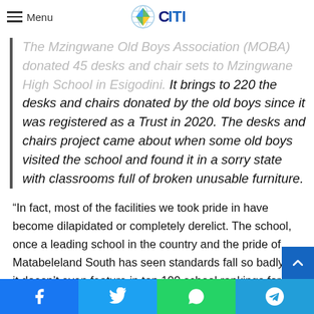Menu | CITE
The Mzingwane Old Boys Association (MOBA) donated 45 desks and chair sets to Mzingwane High School in Esigodini. It brings to 220 the desks and chairs donated by the old boys since it was registered as a Trust in 2020. The desks and chairs project came about when some old boys visited the school and found it in a sorry state with classrooms full of broken unusable furniture.
“In fact, most of the facilities we took pride in have become dilapidated or completely derelict. The school, once a leading school in the country and the pride of Matabeleland South has seen standards fall so badly that it doesn’t even feature in top 100 school rankings for the country,” an alumni member Qobolwakhe Mayisa said during the donation.
Facebook | Twitter | WhatsApp | Telegram